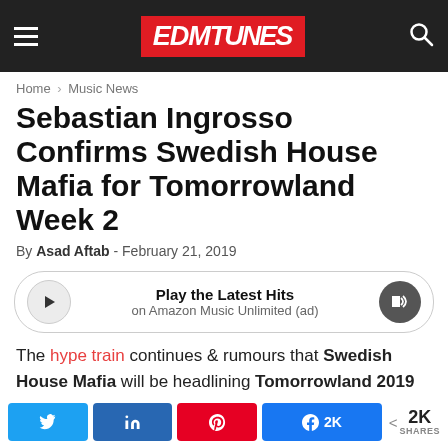EDMTunes
Home › Music News
Sebastian Ingrosso Confirms Swedish House Mafia for Tomorrowland Week 2
By Asad Aftab - February 21, 2019
[Figure (other): Amazon Music Unlimited player bar with play button, 'Play the Latest Hits' text, 'on Amazon Music Unlimited (ad)' subtitle, and volume icon]
The hype train continues & rumours that Swedish House Mafia will be headlining Tomorrowland 2019 have been ablaze ever since...
Twitter share, LinkedIn share, Pinterest share, Facebook 2K share, 2K SHARES